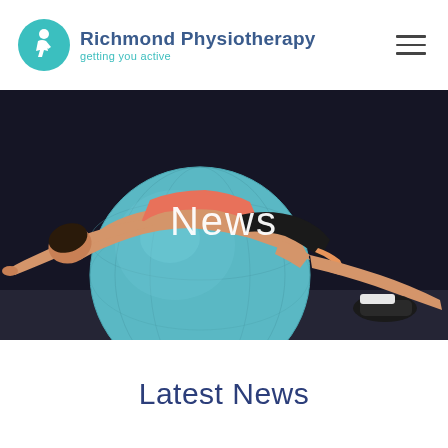[Figure (logo): Richmond Physiotherapy logo: teal circle with stylized running figure R, text 'Richmond Physiotherapy' in dark blue with tagline 'getting you active' in teal]
[Figure (photo): Athlete woman in pink top lying back over a large teal exercise/physio ball in a dark gym setting, with text overlay 'News']
Latest News